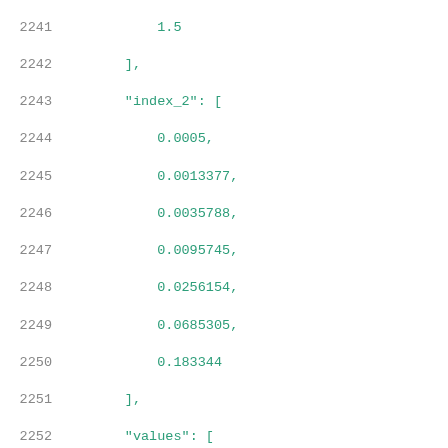Code listing lines 2241-2262 showing JSON array data with index_2 and values arrays containing numeric floating point values
2241    1.5
2242    ],
2243    "index_2": [
2244      0.0005,
2245      0.0013377,
2246      0.0035788,
2247      0.0095745,
2248      0.0256154,
2249      0.0685305,
2250      0.183344
2251    ],
2252    "values": [
2253      [
2254        0.0395226,
2255        0.0470639,
2256        0.065287,
2257        0.1121195,
2258        0.2403449,
2259        0.5844281,
2260        1.4878174
2261      ],
2262      [